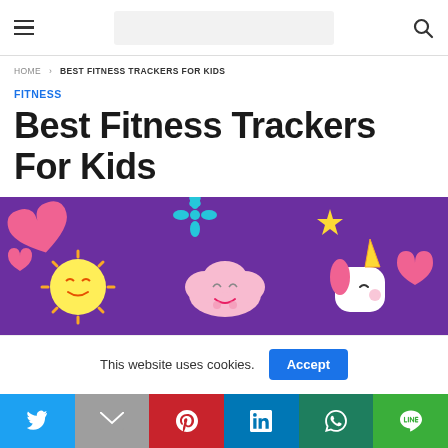Navigation header with hamburger menu, search bar, and search icon
HOME > BEST FITNESS TRACKERS FOR KIDS
FITNESS
Best Fitness Trackers For Kids
[Figure (illustration): Colorful illustrated banner with kawaii-style characters including a sun, cloud, unicorn, hearts and stars on a purple background]
This website uses cookies.
Social share buttons: Twitter, Gmail, Pinterest, LinkedIn, WhatsApp, LINE